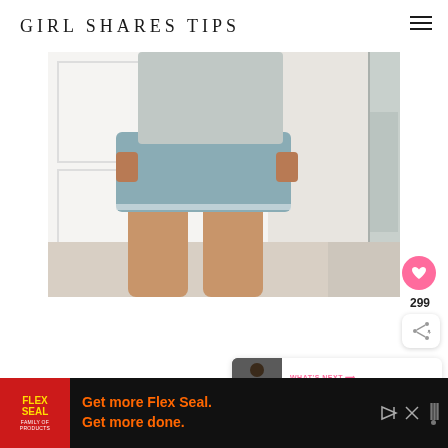GIRL SHARES TIPS
[Figure (photo): Photo of a person from the waist down wearing light blue denim frayed shorts and a grey top, standing indoors near a white door, with a mirror reflection visible on the right side.]
299
[Figure (infographic): WHAT'S NEXT arrow label in pink, followed by '50+ Biker Shorts Outfi...' text with thumbnail image of a person in biker shorts outfit]
[Figure (screenshot): Advertisement banner: Flex Seal Family of Products logo on dark background with orange text 'Get more Flex Seal. Get more done.' and media controls]